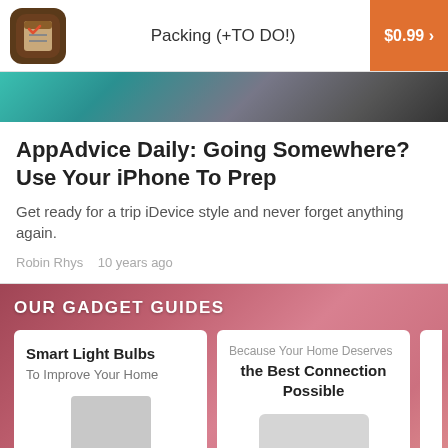Packing (+TO DO!) $0.99
[Figure (photo): Hero image strip showing a partial view of a person with teal/grey background]
AppAdvice Daily: Going Somewhere? Use Your iPhone To Prep
Get ready for a trip iDevice style and never forget anything again.
Robin Rhys   10 years ago
OUR GADGET GUIDES
[Figure (screenshot): Smart Light Bulbs guide card - To Improve Your Home]
[Figure (screenshot): Because Your Home Deserves the Best Connection Possible guide card]